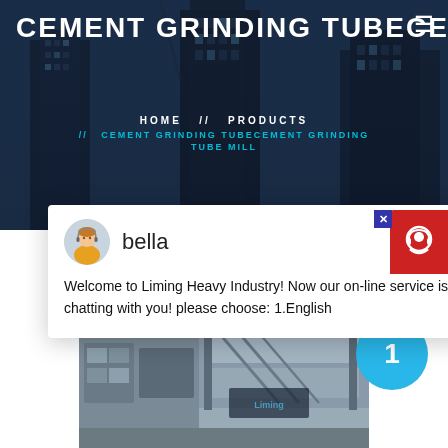CEMENT GRINDING TUBECEMENT GRINDING TUBE MILL
HOME // PRODUCTS // CEMENT GRINDING TUBECEMENT GRINDING TUBE MILL
[Figure (screenshot): Chat widget overlay from Liming Heavy Industry website showing agent 'bella' with welcome message]
bella
Welcome to Liming Heavy Industry! Now our on-line service is chatting with you! please choose: 1.English
[Figure (photo): Industrial cement grinding tube mill machinery in a factory setting]